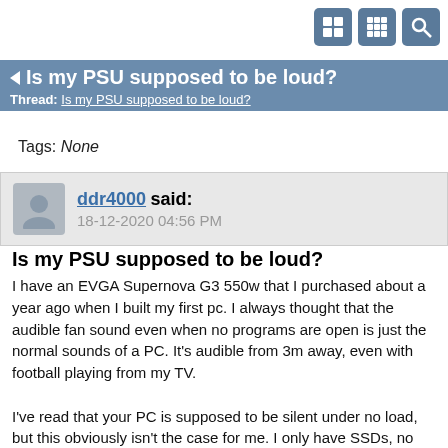[Figure (screenshot): Three icon buttons in top right corner: two grid/tile icons and a search icon]
Is my PSU supposed to be loud?
Thread: Is my PSU supposed to be loud?
Tags: None
ddr4000 said:
18-12-2020 04:56 PM
Is my PSU supposed to be loud?
I have an EVGA Supernova G3 550w that I purchased about a year ago when I built my first pc. I always thought that the audible fan sound even when no programs are open is just the normal sounds of a PC. It's audible from 3m away, even with football playing from my TV.

I've read that your PC is supposed to be silent under no load, but this obviously isn't the case for me. I only have SSDs, no regular hard drives. I've tried eco setting on and off.